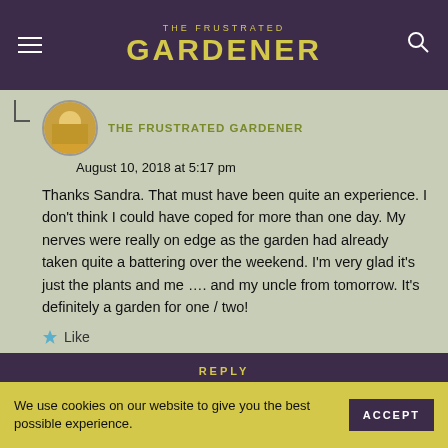THE FRUSTRATED GARDENER
THE FRUSTRATED GARDENER
August 10, 2018 at 5:17 pm
Thanks Sandra. That must have been quite an experience. I don't think I could have coped for more than one day. My nerves were really on edge as the garden had already taken quite a battering over the weekend. I'm very glad it's just the plants and me …. and my uncle from tomorrow. It's definitely a garden for one / two!
Like
REPLY
We use cookies on our website to give you the best possible experience.